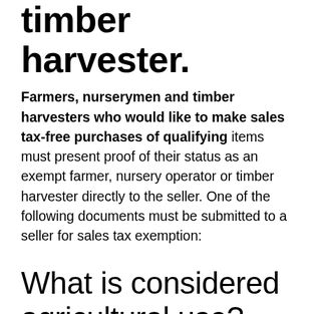timber harvester.
Farmers, nurserymen and timber harvesters who would like to make sales tax-free purchases of qualifying items must present proof of their status as an exempt farmer, nursery operator or timber harvester directly to the seller. One of the following documents must be submitted to a seller for sales tax exemption:
What is considered agricultural use?
Agricultural use includes producing crops, livestock, poultry, fish, or cover crops.